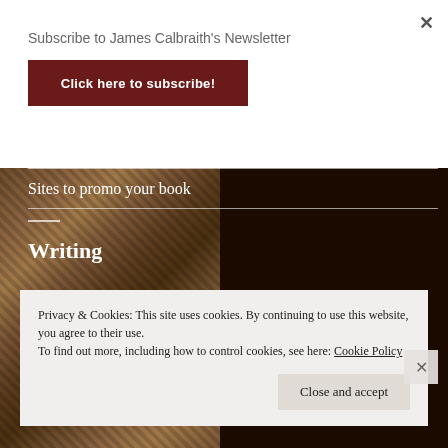Subscribe to James Calbraith's Newsletter
Click here to subscribe!
Sites to promo your book
Writing
Privacy & Cookies: This site uses cookies. By continuing to use this website, you agree to their use.
To find out more, including how to control cookies, see here: Cookie Policy
Close and accept